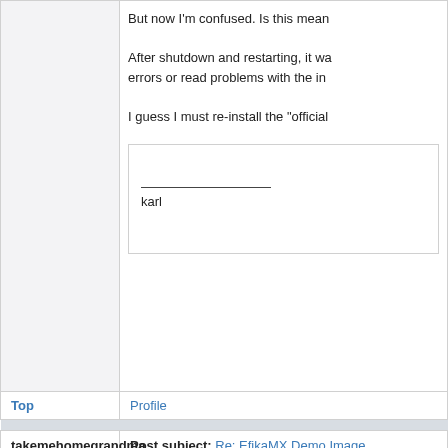But now I'm confused. Is this mean
After shutdown and restarting, it wa errors or read problems with the in
I guess I must re-install the "official
karl
Top
Profile
takemehomegrandma
Post subject: Re: EfikaMX Demo Image
Offline
Joined: Wed Jul 27, 2005 9:20
Quote: